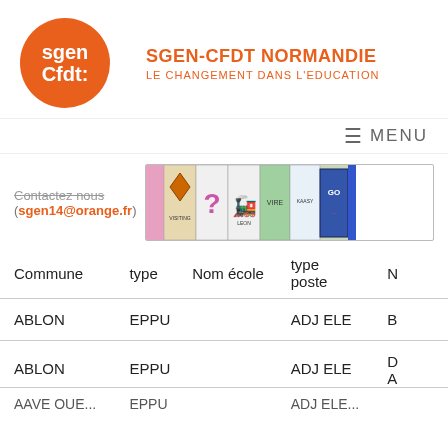[Figure (logo): SGEN-CFDT orange circle logo with white text 'sgen Cfdt:']
SGEN-CFDT NORMANDIE
LE CHANGEMENT DANS L'EDUCATION
MENU
Contactez nous (sgen14@orange.fr)
[Figure (photo): Monopoly board game strip showing several game squares]
| Commune | type | Nom école | type poste | N |
| --- | --- | --- | --- | --- |
| ABLON | EPPU |  | ADJ ELE | B |
| ABLON | EPPU |  | ADJ ELE | D A |
| AAVE OUE... | EPPU |  | ADJ ELE |  |